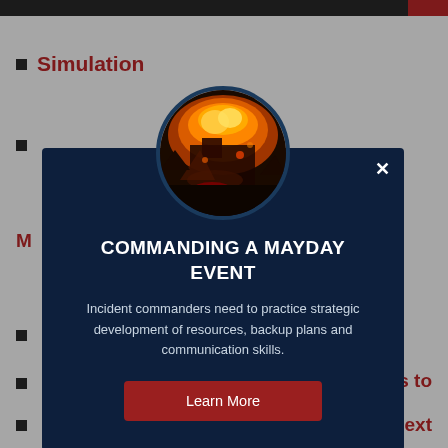Simulation
[Figure (screenshot): Modal dialog on dark navy background showing a circular fire scene photo, title 'COMMANDING A MAYDAY EVENT', descriptive body text, and a red Learn More button with an X close button]
COMMANDING A MAYDAY EVENT
Incident commanders need to practice strategic development of resources, backup plans and communication skills.
Learn More
s to
at's next